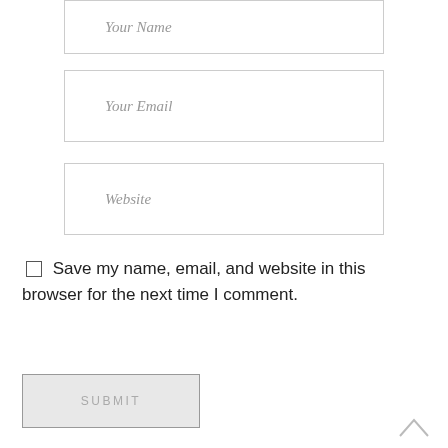Your Name
Your Email
Website
Save my name, email, and website in this browser for the next time I comment.
SUBMIT